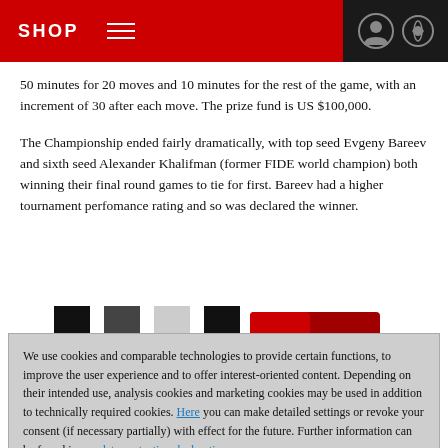SHOP
50 minutes for 20 moves and 10 minutes for the rest of the game, with an increment of 30 after each move. The prize fund is US $100,000.
The Championship ended fairly dramatically, with top seed Evgeny Bareev and sixth seed Alexander Khalifman (former FIDE world champion) both winning their final round games to tie for first. Bareev had a higher tournament perfomance rating and so was declared the winner.
[Figure (illustration): Partial chess-related image strip with colored blocks visible at bottom of content area]
We use cookies and comparable technologies to provide certain functions, to improve the user experience and to offer interest-oriented content. Depending on their intended use, analysis cookies and marketing cookies may be used in addition to technically required cookies. Here you can make detailed settings or revoke your consent (if necessary partially) with effect for the future. Further information can be found in our data protection declaration.